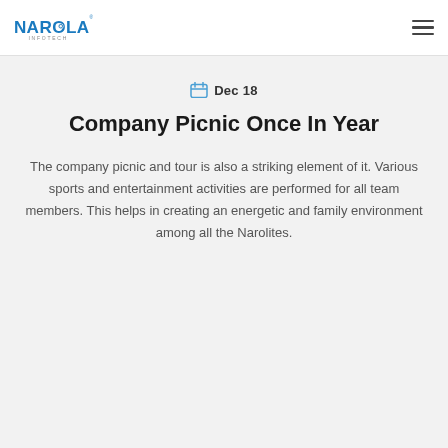[Figure (logo): Narola Infotech logo in blue with company name]
Dec 18
Company Picnic Once In Year
The company picnic and tour is also a striking element of it. Various sports and entertainment activities are performed for all team members. This helps in creating an energetic and family environment among all the Narolites.